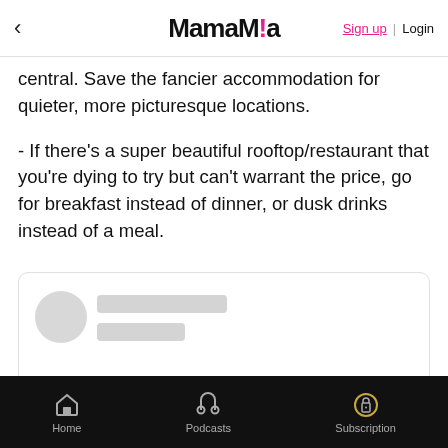MamaMia | Sign up | Login
central. Save the fancier accommodation for quieter, more picturesque locations.
- If there's a super beautiful rooftop/restaurant that you're dying to try but can't warrant the price, go for breakfast instead of dinner, or dusk drinks instead of a meal.
[Figure (other): Embedded content card with skeleton loading state showing a circular avatar placeholder and two rectangular text placeholder lines]
Home | Podcasts | Subscription